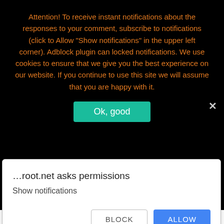Attention! To receive instant notifications about the responses to your comment, subscribe to notifications (click to Allow "Show notifications" in the upper left corner). Adblock plugin can locked notifications. We use cookies to ensure that we give you the best experience on our website. If you continue to use this site we will assume that you are happy with it.
Ok, good
Maze
Media-Droid
Medion
Meitu
…root.net asks permissions
Show notifications
BLOCK
ALLOW